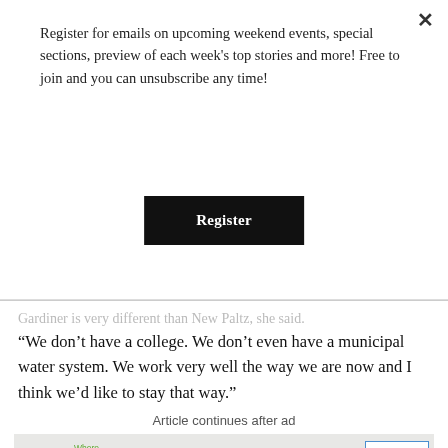Register for emails on upcoming weekend events, special sections, preview of each week's top stories and more! Free to join and you can unsubscribe any time!
Register
Gardiner is very different than New Paltz, she said. “We don’t have a college. We don’t even have a municipal water system. We work very well the way we are now and I think we’d like to stay that way.”
Article continues after ad
[Figure (illustration): Advertisement for hospice/community care service titled 'Where Community Comforts' featuring two women (one older patient, one caregiver in blue scrubs), a circular photo of a house, and a 'We Honor Veterans' badge in the upper right.]